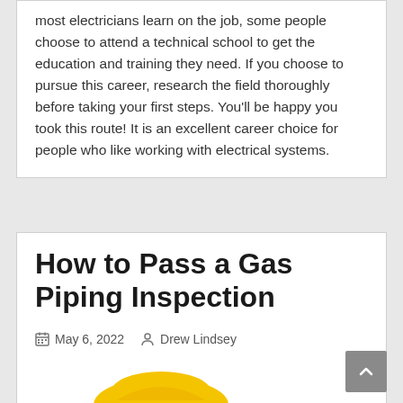most electricians learn on the job, some people choose to attend a technical school to get the education and training they need. If you choose to pursue this career, research the field thoroughly before taking your first steps. You'll be happy you took this route! It is an excellent career choice for people who like working with electrical systems.
How to Pass a Gas Piping Inspection
May 6, 2022   Drew Lindsey
[Figure (photo): Yellow object partially visible at bottom of page, appears to be a hard hat or safety equipment]